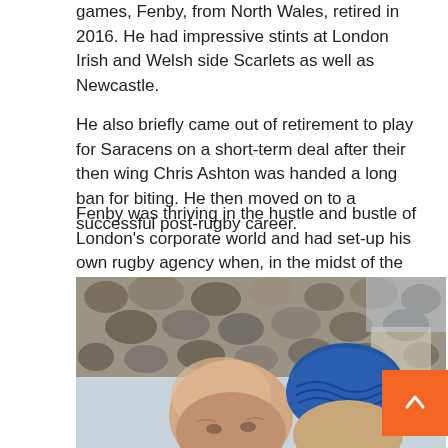games, Fenby, from North Wales, retired in 2016. He had impressive stints at London Irish and Welsh side Scarlets as well as Newcastle.
He also briefly came out of retirement to play for Saracens on a short-term deal after their then wing Chris Ashton was handed a long ban for biting. He then moved on to a successful post-rugby career.
Fenby was thriving in the hustle and bustle of London's corporate world and had set-up his own rugby agency when, in the midst of the Covid-19 pandemic, he was hit by a seismic double blow.
[Figure (photo): Two men posing together outdoors. One is bald and the other is wearing a blue knit beanie hat. Stone wall visible in background.]